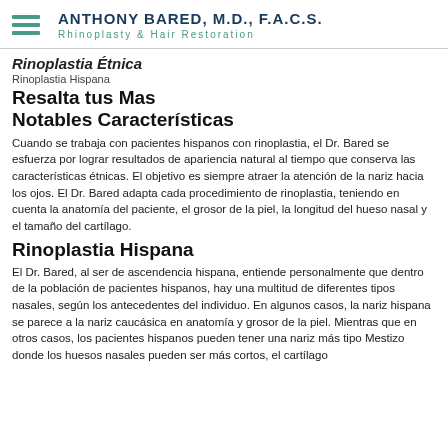ANTHONY BARED, M.D., F.A.C.S. — Rhinoplasty & Hair Restoration
Rinoplastia Étnica
Rinoplastia Hispana
Resalta tus Mas Notables Características
Cuando se trabaja con pacientes hispanos con rinoplastia, el Dr. Bared se esfuerza por lograr resultados de apariencia natural al tiempo que conserva las características étnicas. El objetivo es siempre atraer la atención de la nariz hacia los ojos. El Dr. Bared adapta cada procedimiento de rinoplastia, teniendo en cuenta la anatomía del paciente, el grosor de la piel, la longitud del hueso nasal y el tamaño del cartílago.
Rinoplastia Hispana
El Dr. Bared, al ser de ascendencia hispana, entiende personalmente que dentro de la población de pacientes hispanos, hay una multitud de diferentes tipos nasales, según los antecedentes del individuo. En algunos casos, la nariz hispana se parece a la nariz caucásica en anatomía y grosor de la piel. Mientras que en otros casos, los pacientes hispanos pueden tener una nariz más tipo Mestizo donde los huesos nasales pueden ser más cortos, el cartílago